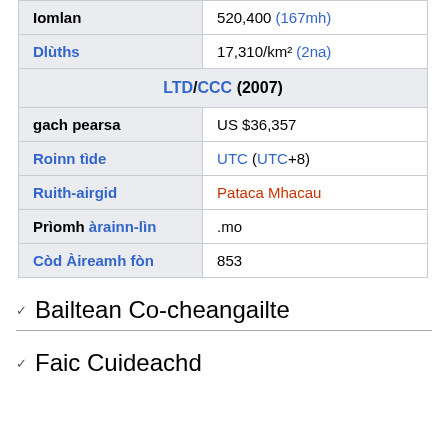| Field | Value |
| --- | --- |
| Iomlan | 520,400 (167mh) |
| Dlùths | 17,310/km² (2na) |
| LTD/CCC (2007) |  |
| gach pearsa | US $36,357 |
| Roinn tìde | UTC (UTC+8) |
| Ruith-airgid | Pataca Mhacau |
| Prìomh àrainn-lìn | .mo |
| Còd Àireamh fòn | 853 |
Bailtean Co-cheangailte
Faic Cuideachd